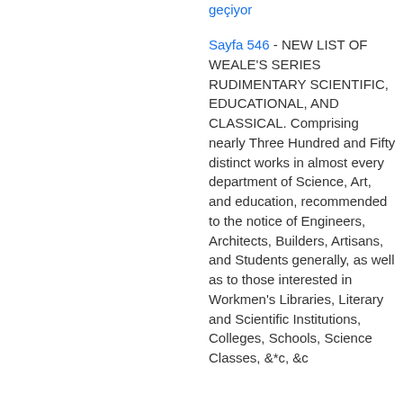geçiyor
Sayfa 546 - NEW LIST OF WEALE'S SERIES RUDIMENTARY SCIENTIFIC, EDUCATIONAL, AND CLASSICAL. Comprising nearly Three Hundred and Fifty distinct works in almost every department of Science, Art, and education, recommended to the notice of Engineers, Architects, Builders, Artisans, and Students generally, as well as to those interested in Workmen's Libraries, Literary and Scientific Institutions, Colleges, Schools, Science Classes, &*c, &c